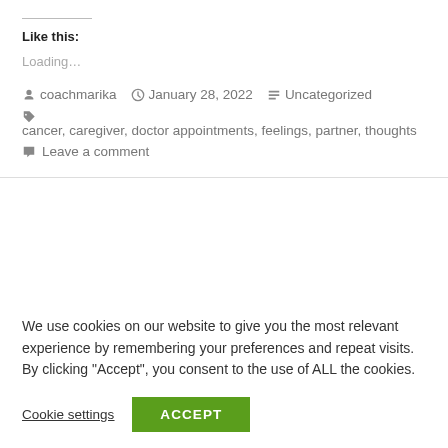Like this:
Loading…
coachmarika   January 28, 2022   Uncategorized
cancer, caregiver, doctor appointments, feelings, partner, thoughts
Leave a comment
We use cookies on our website to give you the most relevant experience by remembering your preferences and repeat visits. By clicking "Accept", you consent to the use of ALL the cookies.
Cookie settings   ACCEPT